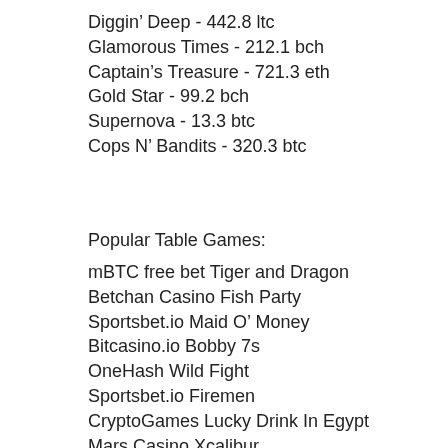Diggin' Deep - 442.8 ltc
Glamorous Times - 212.1 bch
Captain's Treasure - 721.3 eth
Gold Star - 99.2 bch
Supernova - 13.3 btc
Cops N' Bandits - 320.3 btc
Popular Table Games:
mBTC free bet Tiger and Dragon
Betchan Casino Fish Party
Sportsbet.io Maid O' Money
Bitcasino.io Bobby 7s
OneHash Wild Fight
Sportsbet.io Firemen
CryptoGames Lucky Drink In Egypt
Mars Casino Xcalibur
Syndicate Casino Hercules Son of Zeus
BitStarz Casino Jekyll and Hyde
Playamo Casino Panther Moon
OneHash Jetsetter